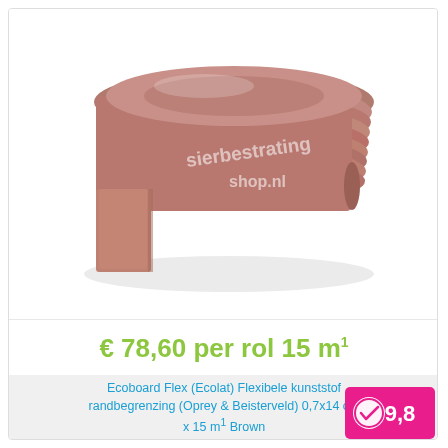[Figure (photo): A rolled-up brown flexible plastic edging strip (Ecoboard Flex / Ecolat) shown as a coiled roll viewed from the side on a white background. A watermark reading 'sierbestrating shop.nl' is visible on the image.]
€ 78,60 per rol 15 m¹
Ecoboard Flex (Ecolat) Flexibele kunststof randbegrenzing (Oprey & Beisterveld) 0,7x14 cm x 15 m¹ Brown
[Figure (logo): Pink/magenta badge with a checkmark circle icon and the number 9,8 rating score]